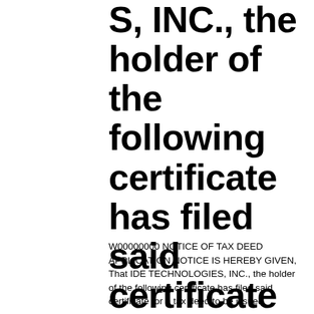S, INC., the holder of the following certificate has filed said certificate for a tax deed to be issued ...
W00000000 NOTICE OF TAX DEED APPLICATION NOTICE IS HEREBY GIVEN, That IDE TECHNOLOGIES, INC., the holder of the following certificate has filed said certificate for a tax deed to be issued